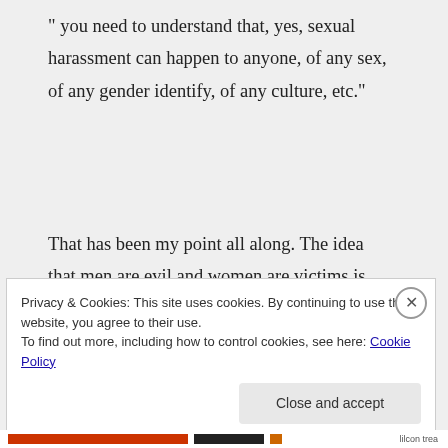" you need to understand that, yes, sexual harassment can happen to anyone, of any sex, of any gender identify, of any culture, etc."
That has been my point all along. The idea that men are evil and women are victims is completely wrong. It is done by both genders to both genders.
Privacy & Cookies: This site uses cookies. By continuing to use this website, you agree to their use.
To find out more, including how to control cookies, see here: Cookie Policy